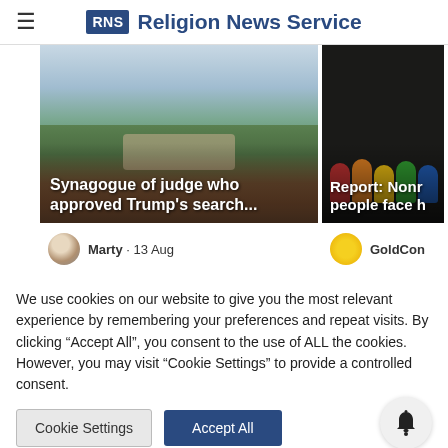Religion News Service
[Figure (screenshot): Article card showing aerial photo of Mar-a-Lago estate with text: Synagogue of judge who approved Trump's search...]
[Figure (screenshot): Article card showing colorful figurines on dark background with text: Report: Nonr... people face h...]
Marty · 13 Aug
GoldCon
We use cookies on our website to give you the most relevant experience by remembering your preferences and repeat visits. By clicking "Accept All", you consent to the use of ALL the cookies. However, you may visit "Cookie Settings" to provide a controlled consent.
Cookie Settings
Accept All